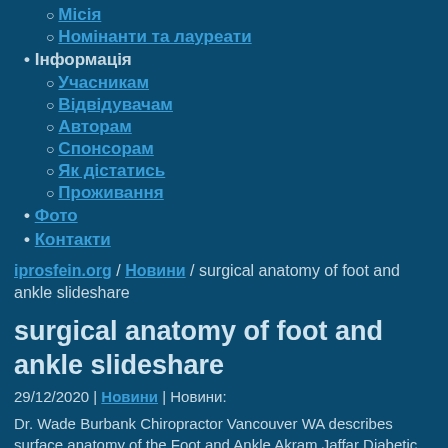Місія
Номінанти та лауреати
Інформація
Учасникам
Відвідувачам
Авторам
Спонсорам
Як дістатись
Проживання
Фото
Контакти
iprosfein.org / Новини / surgical anatomy of foot and ankle slideshare
surgical anatomy of foot and ankle slideshare
29/12/2020 | Новини | Новини:
Dr. Wade Burbank Chiropractor Vancouver WA describes surface anatomy of the Foot and Ankle Akram Jaffar Diabetic foot Dr. Akram Jaffar 19.